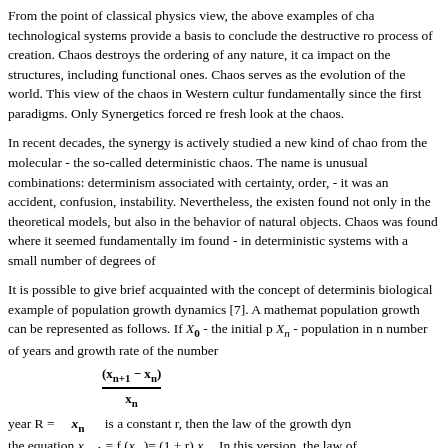From the point of classical physics view, the above examples of cha technological systems provide a basis to conclude the destructive ro process of creation. Chaos destroys the ordering of any nature, it ca impact on the structures, including functional ones. Chaos serves as the evolution of the world. This view of the chaos in Western cultur fundamentally since the first paradigms. Only Synergetics forced re fresh look at the chaos.
In recent decades, the synergy is actively studied a new kind of cha from the molecular - the so-called deterministic chaos. The name is unusual combinations: determinism associated with certainty, order, - it was an accident, confusion, instability. Nevertheless, the existen found not only in the theoretical models, but also in the behavior of natural objects. Chaos was found where it seemed fundamentally im found - in deterministic systems with a small number of degrees of
It is possible to give brief acquainted with the concept of determinis biological example of population growth dynamics [7]. A mathemat population growth can be represented as follows. If X_0 - the initial p X_n - population in n number of years and growth rate of the number
year R = x_n is a constant r, then the law of the growth dyn the equation x_{n+1} = f(x_n) = (1 + r) x_n. In this version, the law of